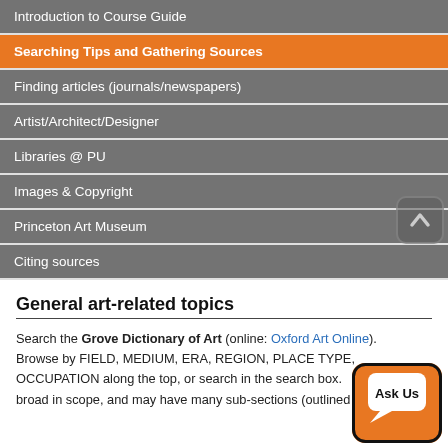Introduction to Course Guide
Searching Tips and Gathering Sources
Finding articles (journals/newspapers)
Artist/Architect/Designer
Libraries @ PU
Images & Copyright
Princeton Art Museum
Citing sources
General art-related topics
Search the Grove Dictionary of Art (online: Oxford Art Online). Browse by FIELD, MEDIUM, ERA, REGION, PLACE TYPE, OCCUPATION along the top, or search in the search box. broad in scope, and may have many sub-sections (outlined at the